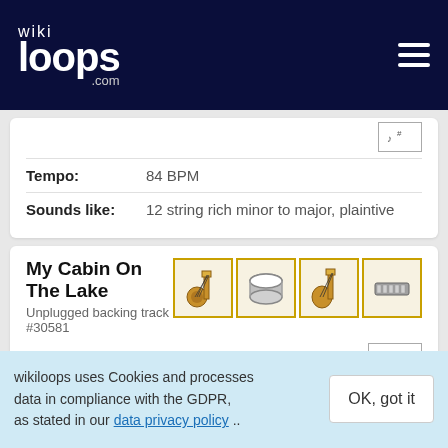wikiloops.com
Tempo: 84 BPM
Sounds like: 12 string rich minor to major, plaintive
My Cabin On The Lake
Unplugged backing track #30581
[Figure (illustration): Four instrument icons in gold-bordered boxes: guitar, drum, bass guitar, harmonica]
[Figure (illustration): Sheet music notation icon button]
Meter: 6/8
Tempo: 92 BPM
wikiloops uses Cookies and processes data in compliance with the GDPR, as stated in our data privacy policy ..